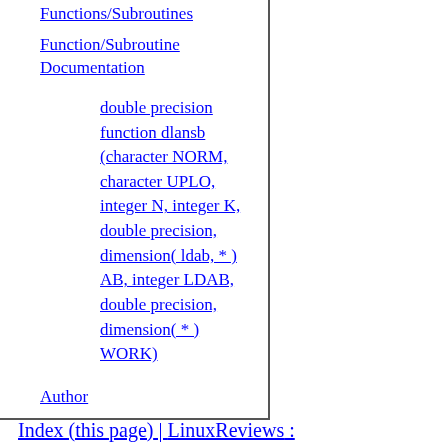Functions/Subroutines
Function/Subroutine Documentation
double precision function dlansb (character NORM, character UPLO, integer N, integer K, double precision, dimension( ldab, * ) AB, integer LDAB, double precision, dimension( * ) WORK)
Author
Index (this page) | LinuxReviews :